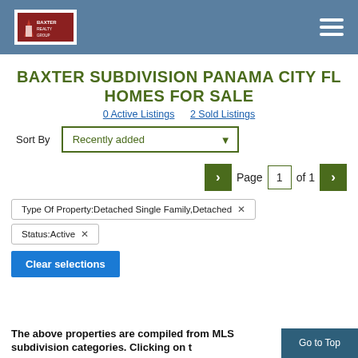Baxter Subdivision Panama City FL Homes For Sale — navigation header with logo and hamburger menu
BAXTER SUBDIVISION PANAMA CITY FL HOMES FOR SALE
0 Active Listings   2 Sold Listings
Sort By  Recently added
Page 1 of 1
Type Of Property:Detached Single Family,Detached ✕
Status:Active ✕
Clear selections
The above properties are compiled from MLS subdivision categories. Clicking on t